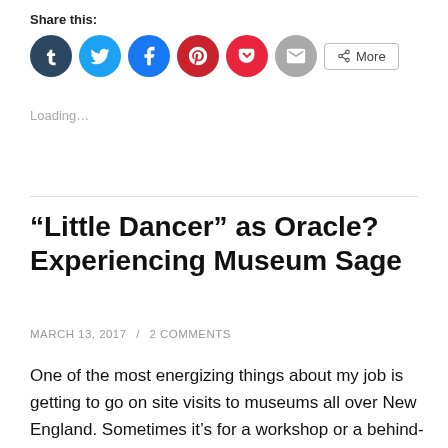Share this:
[Figure (other): Social share icons: Tumblr (dark blue circle), Twitter (light blue circle), Facebook (blue circle), Pinterest (red circle), Pocket (red circle), Email (grey circle), and a More button with share icon]
Loading...
“Little Dancer” as Oracle? Experiencing Museum Sage
MARCH 13, 2017 / 2 COMMENTS
One of the most energizing things about my job is getting to go on site visits to museums all over New England. Sometimes it’s for a workshop or a behind-the-scenes tour, sometimes for networking events or exhibit